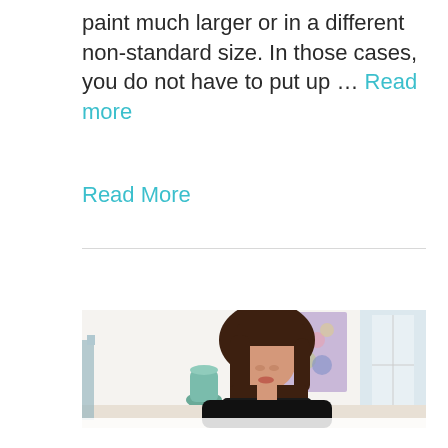paint much larger or in a different non-standard size. In those cases, you do not have to put up … Read more
Read More
[Figure (photo): A woman with long dark hair and bangs looking downward, likely painting or working at a table, in an art studio with a colorful abstract painting visible in the background.]